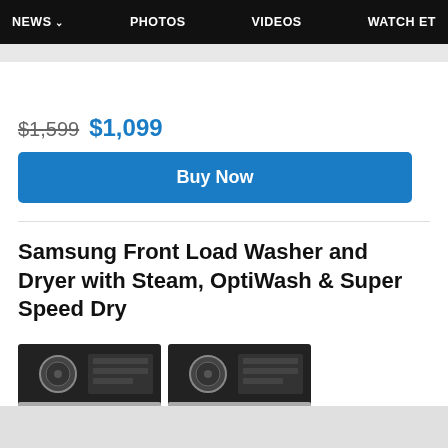NEWS ▾   PHOTOS   VIDEOS   WATCH ET
$1,599  $1,099
Buy Now
Samsung Front Load Washer and Dryer with Steam, OptiWash & Super Speed Dry
[Figure (photo): Samsung front load washer and dryer pair, black, side by side]